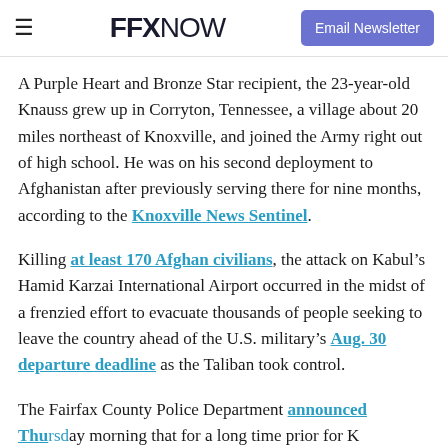FFX NOW | Email Newsletter
A Purple Heart and Bronze Star recipient, the 23-year-old Knauss grew up in Corryton, Tennessee, a village about 20 miles northeast of Knoxville, and joined the Army right out of high school. He was on his second deployment to Afghanistan after previously serving there for nine months, according to the Knoxville News Sentinel.
Killing at least 170 Afghan civilians, the attack on Kabul’s Hamid Karzai International Airport occurred in the midst of a frenzied effort to evacuate thousands of people seeking to leave the country ahead of the U.S. military’s Aug. 30 departure deadline as the Taliban took control.
The Fairfax County Police Department announced Thursday morning that for a long time prior for K...